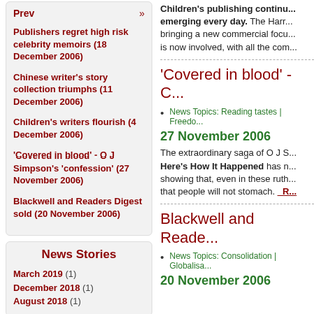Prev »
Publishers regret high risk celebrity memoirs (18 December 2006)
Chinese writer's story collection triumphs (11 December 2006)
Children's writers flourish (4 December 2006)
'Covered in blood' - O J Simpson's 'confession' (27 November 2006)
Blackwell and Readers Digest sold (20 November 2006)
News Stories
March 2019 (1)
December 2018 (1)
August 2018 (1)
Children's publishing continu... emerging every day. The Harr... bringing a new commercial focu... is now involved, with all the com...
'Covered in blood' - C...
News Topics: Reading tastes | Freedo...
27 November 2006
The extraordinary saga of O J S... Here's How It Happened has n... showing that, even in these ruth... that people will not stomach. _R...
Blackwell and Reade...
News Topics: Consolidation | Globalisa...
20 November 2006